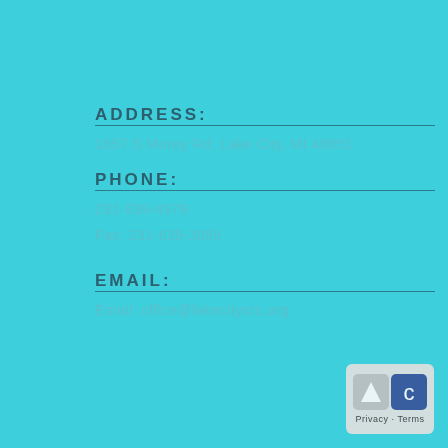ADDRESS:
1657 S Morey Rd, Lake City, MI 49651
PHONE:
231-839-4978
Fax: 231-839-3099
EMAIL:
Email: office@lakecitycrc.org